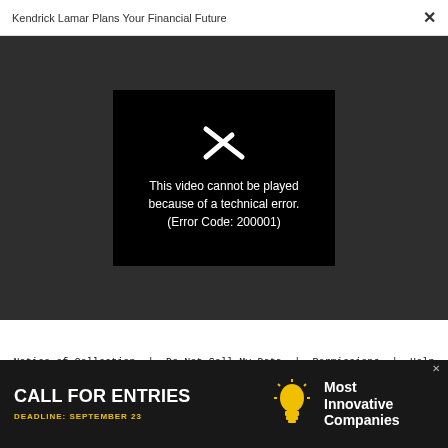Kendrick Lamar Plans Your Financial Future  ×
[Figure (screenshot): Video player showing error: 'This video cannot be played because of a technical error. (Error Code: 200001)' on black background, within a dark gray area]
Notice of Collection  |  Do Not Sell My Data  |  Permissions  |  Help Center  |  About Us  |  Site Map  |
Fast Company & Inc © 2022 Mansueto Ventures, LLC
[Figure (other): Advertisement banner: CALL FOR ENTRIES, DEADLINE: SEPTEMBER 23, Most Innovative Companies, with lightbulb icon]